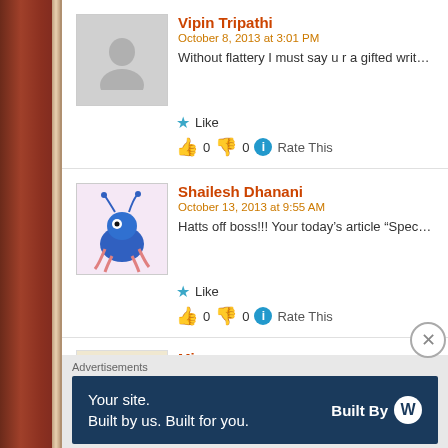Vipin Tripathi
October 8, 2013 at 3:01 PM
Without flattery I must say u r a gifted writer whose pen nd within u
Like
0  0  Rate This
Shailesh Dhanani
October 13, 2013 at 9:55 AM
Hatts off boss!!! Your today's article “Spectrometer” in GS
Like
0  0  Rate This
Mina
October 13, 2013 at 2:26 PM
Advertisements
Your site.
Built by us. Built for you.
Built By